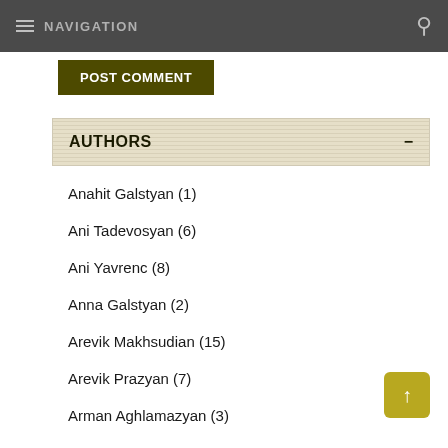NAVIGATION
POST COMMENT
AUTHORS
Anahit Galstyan (1)
Ani Tadevosyan (6)
Ani Yavrenc (8)
Anna Galstyan (2)
Arevik Makhsudian (15)
Arevik Prazyan (7)
Arman Aghlamazyan (3)
"Arvestagir" (235)
Astghik Amirbekyan (4)
Astghik Apresyan (3)